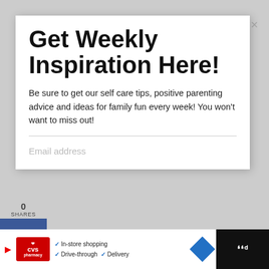Get Weekly Inspiration Here!
Be sure to get our self care tips, positive parenting advice and ideas for family fun every week! You won't want to miss out!
Email address
0
SHARES
f
🐦
P
1
What are you interested in hearing
WHAT'S NEXT → 5 Great Ideas for a Home...
Self Care & Relationships
In-store shopping
Drive-through  ✓ Delivery